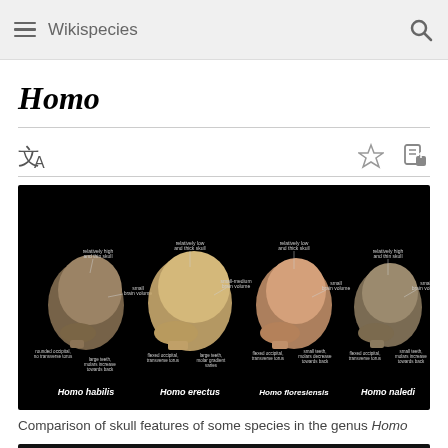Wikispecies
Homo
[Figure (illustration): Comparison of four Homo species skulls (Homo habilis, Homo erectus, Homo floresiensis, Homo naledi) labeled with skull features such as brain volume, skull shape, tooth size, and occipital characteristics, displayed against a black background.]
Comparison of skull features of some species in the genus Homo
[Figure (photo): Partial bottom edge of a second photograph visible at bottom of page, dark background.]